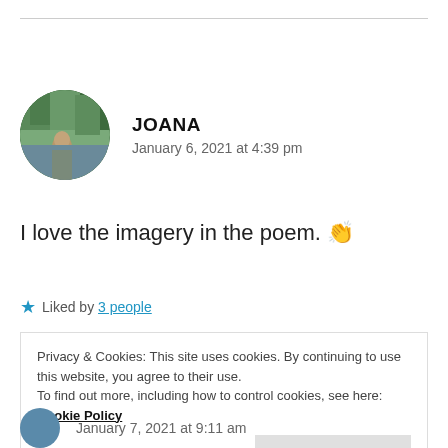[Figure (photo): Circular avatar photo of Joana, showing a person in front of a green forested/waterfall background]
JOANA
January 6, 2021 at 4:39 pm
I love the imagery in the poem. 👏
★ Liked by 3 people
Privacy & Cookies: This site uses cookies. By continuing to use this website, you agree to their use.
To find out more, including how to control cookies, see here: Cookie Policy
Close and accept
January 7, 2021 at 9:11 am